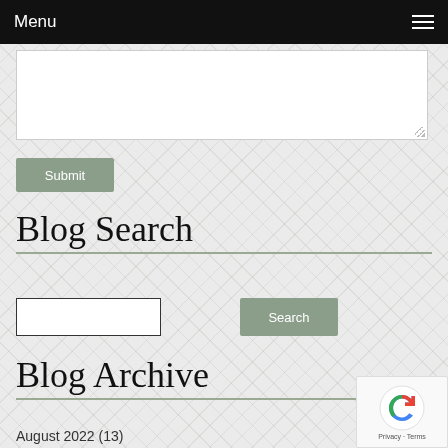Menu
[Figure (screenshot): Empty textarea input box]
Submit
Blog Search
[Figure (screenshot): Search input field and Search button]
Blog Archive
August 2022 (13)